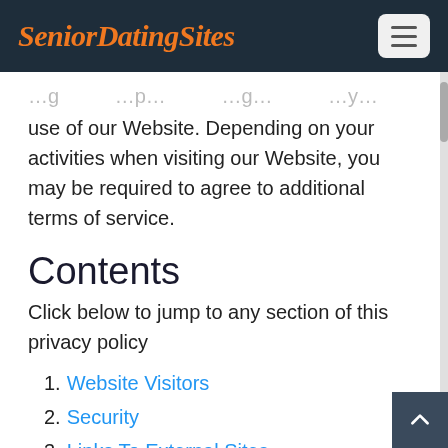SeniorDatingSites
...g... ...p... ...g... ...y... use of our Website. Depending on your activities when visiting our Website, you may be required to agree to additional terms of service.
Contents
Click below to jump to any section of this privacy policy
1. Website Visitors
2. Security
3. Links To External Sites
4. SeniorDatingSites.com...